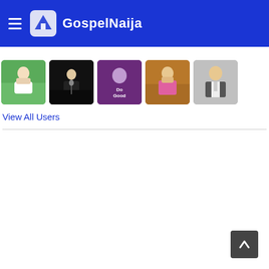GospelNaija
[Figure (screenshot): Row of five user thumbnail images: person in green background, performer in dark background, music cover with Do Good text in purple, person in pink outfit, man in suit on grey background]
View All Users